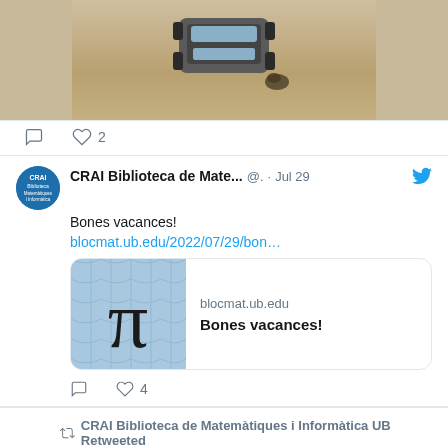[Figure (photo): Aerial or top-down photograph of a vehicle on sandy/dirt terrain, partially visible at top of page]
♡ 2 (comment and like icons)
CRAI Biblioteca de Mate... @. · Jul 29
Bones vacances!
blocmat.ub.edu/2022/07/29/bon…
[Figure (screenshot): Link preview card showing blocmat.ub.edu with pi symbol image. Domain: blocmat.ub.edu, Title: Bones vacances!]
♡ 4 (comment and like icons)
CRAI Biblioteca de Matemàtiques i Informàtica UB Retweeted
RSME @RealSocMatEsp · Jul 27
Un breve recorrido por la historia del Premio Leelavati a la divulgación de las matemáticas